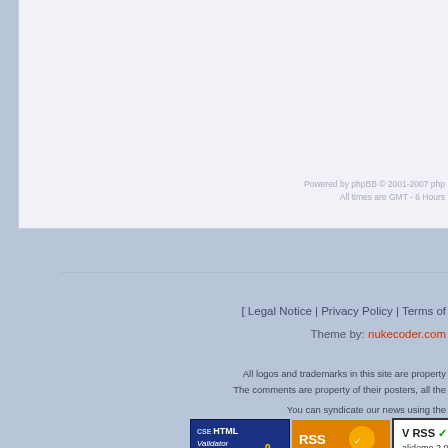Powered by phpBB © 2001-2007 php
All times are GMT - 6 Hours
[ Legal Notice | Privacy Policy | Terms of
Theme by: nukecoder.com
All logos and trademarks in this site are property
The comments are property of their posters, all the
You can syndicate our news using the
[Figure (logo): CSE HTML Validator badge]
[Figure (logo): RSS Valid badge]
[Figure (logo): Validome RSS 2.0 badge]